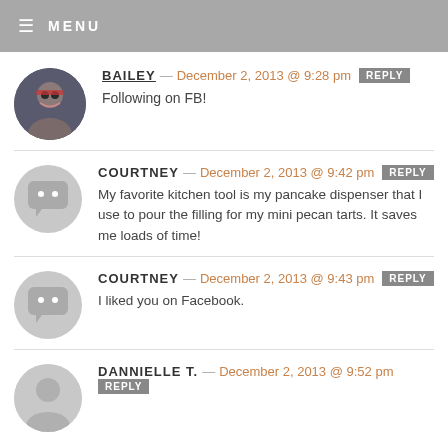MENU
BAILEY — December 2, 2013 @ 9:28 pm  REPLY
Following on FB!
COURTNEY — December 2, 2013 @ 9:42 pm  REPLY
My favorite kitchen tool is my pancake dispenser that I use to pour the filling for my mini pecan tarts. It saves me loads of time!
COURTNEY — December 2, 2013 @ 9:43 pm  REPLY
I liked you on Facebook.
DANNIELLE T. — December 2, 2013 @ 9:52 pm  REPLY